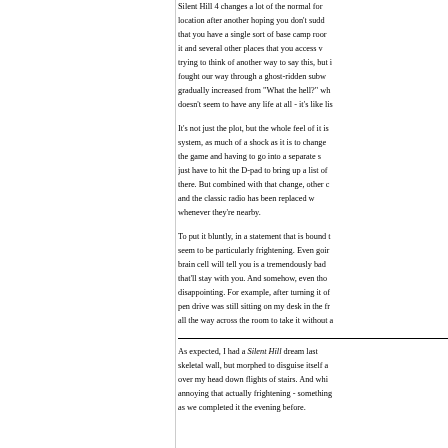Silent Hill 4 changes a lot of the normal formula - instead of going from location after another hoping you don't suddenly die in the dark of the night, that you have a single sort of base camp room that you keep returning to from it and several other places that you access via portals. I'm trying to think of another way to say this, but it doesn't excite me. We fought our way through a ghost-ridden subway and my boredom gradually increased from "What the hell?" when we first started - the music doesn't seem to have any life at all - it's like listening to an alarm.
It's not just the plot, but the whole feel of it is different. Take the inventory system, as much of a shock as it is to change from the previous games - pausing the game and having to go into a separate screen to use items - now you just have to hit the D-pad to bring up a list of items and heal yourself from there. But combined with that change, other changes seem somewhat strange, and the classic radio has been replaced with a heartbeat noise that pulses whenever they're nearby.
To put it bluntly, in a statement that is bound to get me in trouble, it doesn't seem to be particularly frightening. Even going places that every single brain cell will tell you is a tremendously bad idea doesn't give you a chill that'll stay with you. And somehow, even though that is the case, it's still disappointing. For example, after turning it off in the early hours, the pen drive was still sitting on my desk in the front room and I had to go all the way across the room to take it without any real sense of dread.
As expected, I had a Silent Hill dream last night - it started with a skeletal wall, but morphed to disguise itself as a cat and chased me over my head down flights of stairs. And whilst something that is more annoying that actually frightening - something we'd noted in the game as we completed it the evening before.